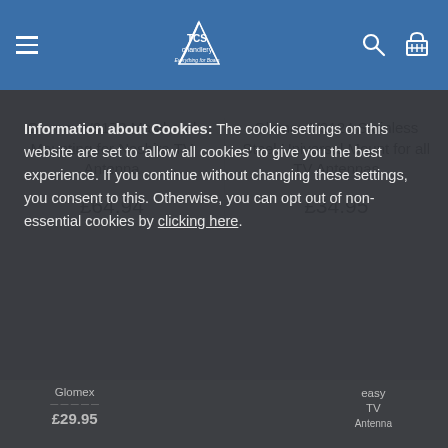TCS Chandlery — Everything for Boats
Glomex V9173 Masthead Mounting for Nashira TV Antenna
£64.94
Glomex V9124 Stainless Steel Universal Mount for all TV Antennas
£34.95
Information about Cookies: The cookie settings on this website are set to 'allow all cookies' to give you the best experience. If you continue without changing these settings, you consent to this. Otherwise, you can opt out of non-essential cookies by clicking here.
Accept and close
Glomex
£29.95
easy TV Antenna